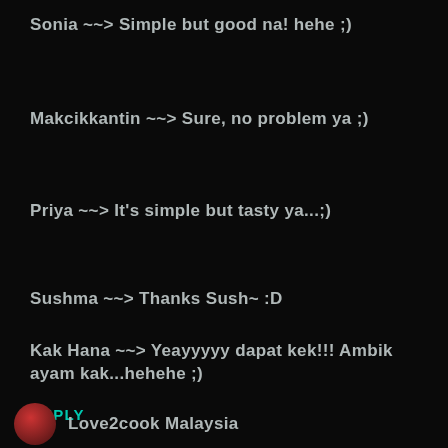Sonia ~~> Simple but good na! hehe ;)
Makcikkantin ~~> Sure, no problem ya ;)
Priya ~~> It's simple but tasty ya...;)
Sushma ~~> Thanks Sush~ :D
Kak Hana ~~> Yeayyyyy dapat kek!!! Ambik ayam kak...hehehe ;)
REPLY
Love2cook Malaysia